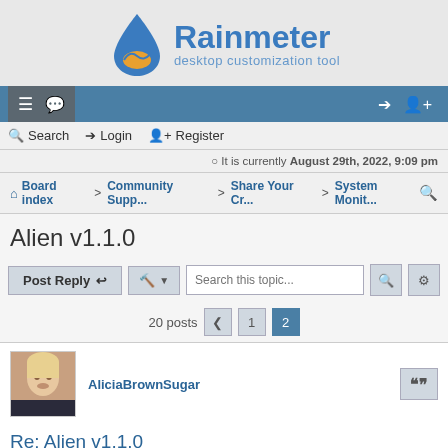[Figure (logo): Rainmeter logo with water drop icon and text 'Rainmeter desktop customization tool']
Navigation bar with hamburger menu, chat icon, login and register icons
Search  Login  Register
It is currently August 29th, 2022, 9:09 pm
Board index > Community Supp... > Share Your Cr... > System Monit...
Alien v1.1.0
Post Reply  [tools]  Search this topic...  20 posts  < 1  2
AliciaBrownSugar
Re: Alien v1.1.0
September 3rd, 2021, 11:36 pm